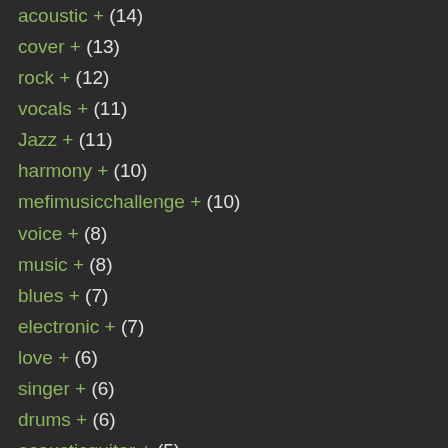acoustic + (14)
cover + (13)
rock + (12)
vocals + (11)
Jazz + (11)
harmony + (10)
mefimusicchallenge + (10)
voice + (8)
music + (8)
blues + (7)
electronic + (7)
love + (6)
singer + (6)
drums + (6)
acousticguitar + (5)
electronica + (5)
harmonies + (5)
ukulele + (5)
lofi + (5)
romantic + (4)